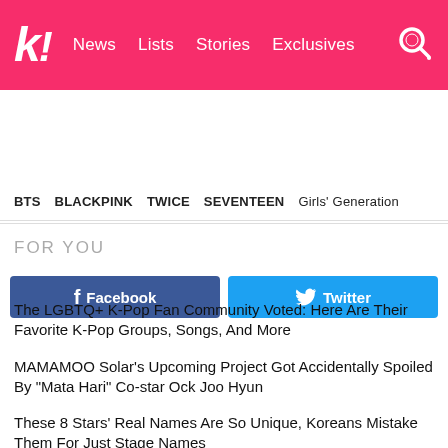Koreaboo — News | Lists | Stories | Exclusives
BTS  BLACKPINK  TWICE  SEVENTEEN  Girls' Generation
[Figure (screenshot): Facebook and Twitter share buttons]
FOR YOU
The LGBTQ+ K-Pop Fan Community Voted: Here Are Their Favorite K-Pop Groups, Songs, And More
MAMAMOO Solar's Upcoming Project Got Accidentally Spoiled By "Mata Hari" Co-star Ock Joo Hyun
These 8 Stars' Real Names Are So Unique, Koreans Mistake Them For Just Stage Names
BLACKPINK Lights Up Seoul, New York, And Los Angeles In Pink Ahead Of Their "Pink Venom" Release